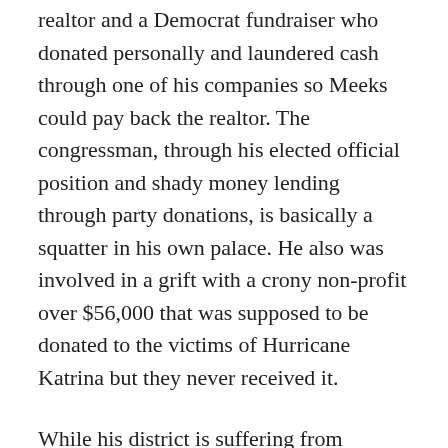realtor and a Democrat fundraiser who donated personally and laundered cash through one of his companies so Meeks could pay back the realtor. The congressman, through his elected official position and shady money lending through party donations, is basically a squatter in his own palace. He also was involved in a grift with a crony non-profit over $56,000 that was supposed to be donated to the victims of Hurricane Katrina but they never received it.
While his district is suffering from myriad problems like pollution, the biggest amount of home foreclosures in Queens and steady crime rates, he has continued to live large and lavishly at the expense of his constituency, so he has to fucking go.